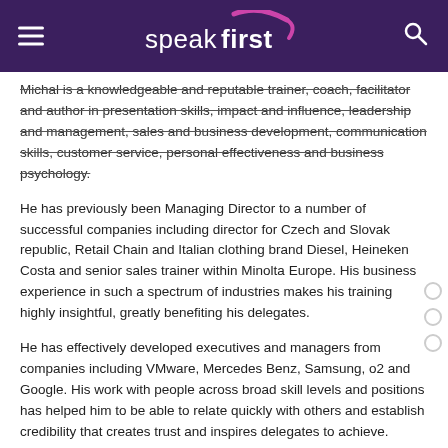speakfirst
Michal is a knowledgeable and reputable trainer, coach, facilitator and author in presentation skills, impact and influence, leadership and management, sales and business development, communication skills, customer service, personal effectiveness and business psychology.
He has previously been Managing Director to a number of successful companies including director for Czech and Slovak republic, Retail Chain and Italian clothing brand Diesel, Heineken Costa and senior sales trainer within Minolta Europe. His business experience in such a spectrum of industries makes his training highly insightful, greatly benefiting his delegates.
He has effectively developed executives and managers from companies including VMware, Mercedes Benz, Samsung, o2 and Google. His work with people across broad skill levels and positions has helped him to be able to relate quickly with others and establish credibility that creates trust and inspires delegates to achieve.
His delivery style draws upon his own and his client's experiences, which he uses to inspire and give insights into solutions for the challenges his delegates face.
He attended Kings College in London, is part of The Czech Association of Coaches (CAC) and is a member of the Czech Management Association